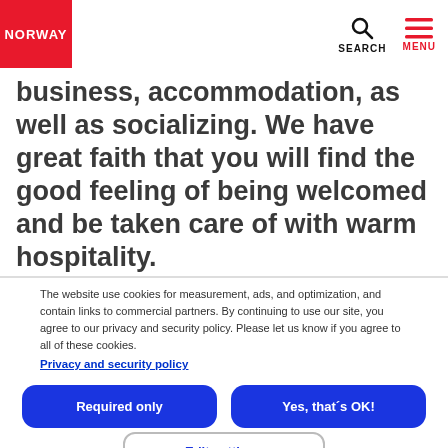NORWAY | SEARCH | MENU
business, accommodation, as well as socializing. We have great faith that you will find the good feeling of being welcomed and be taken care of with warm hospitality.
The website use cookies for measurement, ads, and optimization, and contain links to commercial partners. By continuing to use our site, you agree to our privacy and security policy. Please let us know if you agree to all of these cookies.
Privacy and security policy
Required only
Yes, that´s OK!
Edit settings